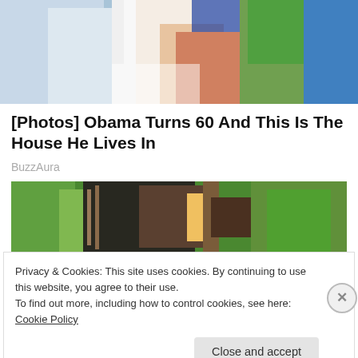[Figure (photo): Two people outdoors, one wearing a blue/checkered shirt, the other in a blue top with orange strap, green trees in background]
[Photos] Obama Turns 60 And This Is The House He Lives In
BuzzAura
[Figure (photo): Outdoor scene with wooden frame structure, dark tarp/cover, surrounded by green trees and bushes]
Privacy & Cookies: This site uses cookies. By continuing to use this website, you agree to their use.
To find out more, including how to control cookies, see here: Cookie Policy
Close and accept